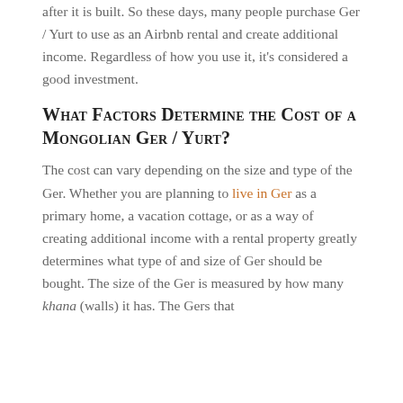after it is built. So these days, many people purchase Ger / Yurt to use as an Airbnb rental and create additional income. Regardless of how you use it, it's considered a good investment.
What Factors Determine the Cost of a Mongolian Ger / Yurt?
The cost can vary depending on the size and type of the Ger. Whether you are planning to live in Ger as a primary home, a vacation cottage, or as a way of creating additional income with a rental property greatly determines what type of and size of Ger should be bought. The size of the Ger is measured by how many khana (walls) it has. The Gers that